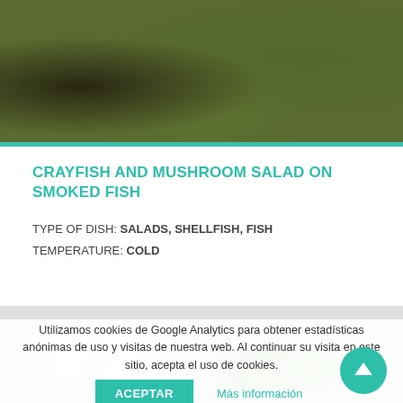[Figure (photo): Food photo showing a plated dish with asparagus, rolled smoked fish with chocolate drizzle and white cream sauce, and other garnishes on a white plate]
CRAYFISH AND MUSHROOM SALAD ON SMOKED FISH
TYPE OF DISH: SALADS, SHELLFISH, FISH
TEMPERATURE: COLD
[Figure (photo): Food photo showing green lettuce salad with crayfish, light blue-tinted background, with a clock badge showing 5 min preparation time]
Utilizamos cookies de Google Analytics para obtener estadísticas anónimas de uso y visitas de nuestra web. Al continuar su visita en este sitio, acepta el uso de cookies.